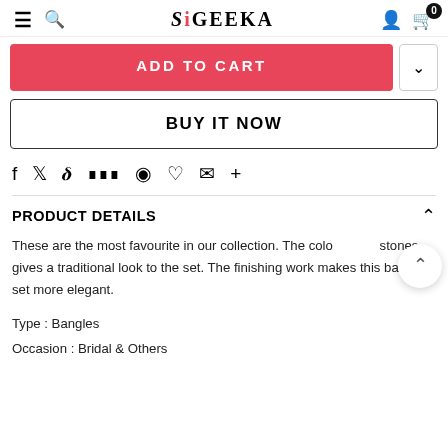≡  🔍  SIGEEKA  👤  🛒 0
ADD TO CART
BUY IT NOW
f  𝕥  𝕡  ⠿  ♟  ♡  ✉  +
PRODUCT DETAILS
These are the most favourite in our collection. The coloured stones gives a traditional look to the set. The finishing work makes this bangle set more elegant.
Type : Bangles
Occasion : Bridal & Others